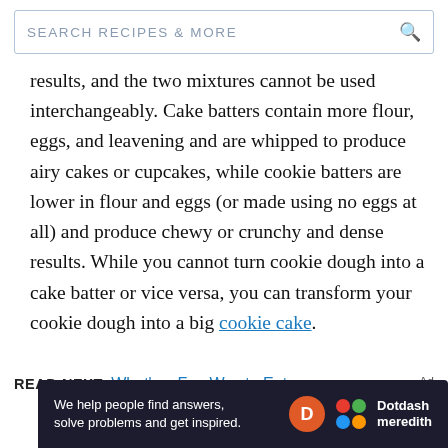SEARCH RECIPES & MORE
results, and the two mixtures cannot be used interchangeably. Cake batters contain more flour, eggs, and leavening and are whipped to produce airy cakes or cupcakes, while cookie batters are lower in flour and eggs (or made using no eggs at all) and produce chewy or crunchy and dense results. While you cannot turn cookie dough into a cake batter or vice versa, you can transform your cookie dough into a big cookie cake.
READ NEXT: What's a Fun Way to Eat
[Figure (other): Dotdash Meredith advertisement banner: 'We help people find answers, solve problems and get inspired.' with Dotdash Meredith logo]